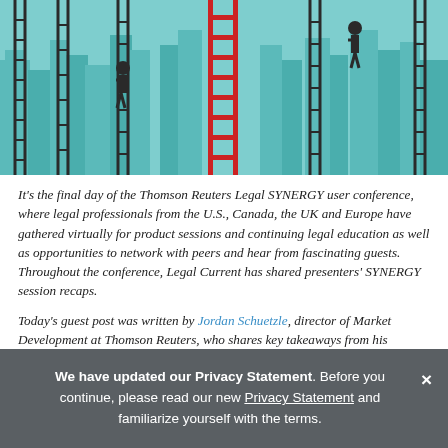[Figure (illustration): Stylized illustration of silhouetted figures climbing ladders against a teal city skyline background with a prominent red ladder in the center]
It's the final day of the Thomson Reuters Legal SYNERGY user conference, where legal professionals from the U.S., Canada, the UK and Europe have gathered virtually for product sessions and continuing legal education as well as opportunities to network with peers and hear from fascinating guests. Throughout the conference, Legal Current has shared presenters' SYNERGY session recaps.

Today's guest post was written by Jordan Schuetzle, director of Market Development at Thomson Reuters, who shares key takeaways from his SYNERGY session, How do
We have updated our Privacy Statement. Before you continue, please read our new Privacy Statement and familiarize yourself with the terms.